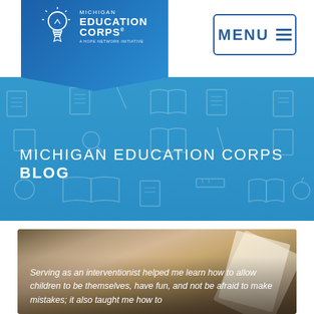[Figure (logo): Michigan Education Corps logo with light bulb icon on blue banner]
[Figure (screenshot): MENU hamburger button in top right corner]
MICHIGAN EDUCATION CORPS BLOG
[Figure (photo): Child reading a book, viewed from behind, with overlaid quote text]
Serving as an interventionist helped me learn how to allow children to be themselves, have fun, and not be afraid to make mistakes; it also taught me how to